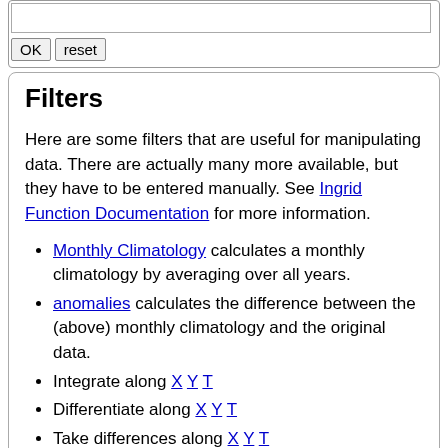[Figure (screenshot): Text area input field (mock UI element)]
[Figure (screenshot): OK and reset buttons (mock UI elements)]
Filters
Here are some filters that are useful for manipulating data. There are actually many more available, but they have to be entered manually. See Ingrid Function Documentation for more information.
Monthly Climatology calculates a monthly climatology by averaging over all years.
anomalies calculates the difference between the (above) monthly climatology and the original data.
Integrate along X Y T
Differentiate along X Y T
Take differences along X Y T